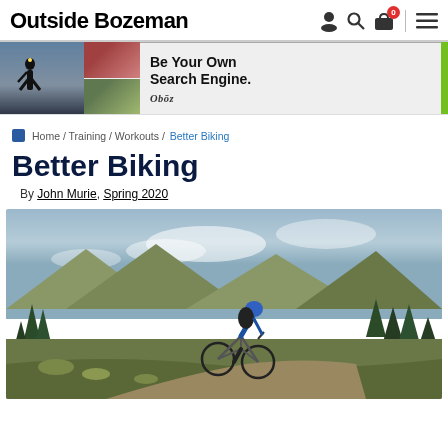Outside Bozeman
[Figure (photo): Obōz advertisement banner: Be Your Own Search Engine. Shows hikers/outdoor scenes on the left and Obōz branding on the right with a green accent bar.]
Home / Training / Workouts / Better Biking
Better Biking
By John Murie, Spring 2020
[Figure (photo): Mountain biker in a blue shirt and helmet riding on a dirt trail through sagebrush and pine trees with mountains and cloudy sky in the background.]